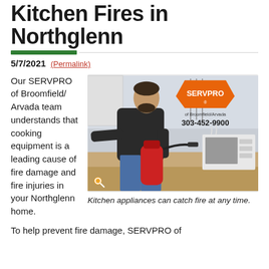Kitchen Fires in Northglenn
5/7/2021 (Permalink)
Our SERVPRO of Broomfield/Arvada team understands that cooking equipment is a leading cause of fire damage and fire injuries in your Northglenn home.
[Figure (photo): Man using a red fire extinguisher in a kitchen. SERVPRO of Broomfield/Arvada logo and phone number 303-452-9900 overlay the top right of the image.]
Kitchen appliances can catch fire at any time.
To help prevent fire damage, SERVPRO of